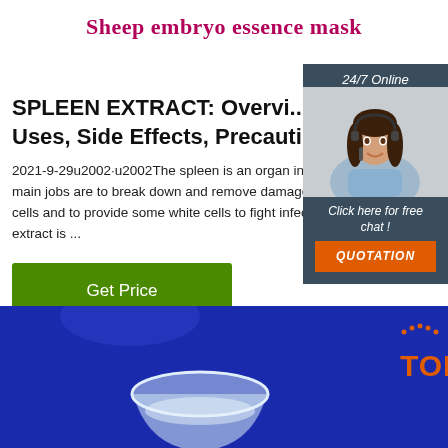Sheep embryo essence mask
SPLEEN EXTRACT: Overview, Uses, Side Effects, Precauti...
2021-9-29u2002·u2002The spleen is an organ in animals. Its main jobs are to break down and remove damaged red blood cells and to provide some white cells to fight infection. Spleen extract is ...
[Figure (photo): Customer service representative wearing a headset, smiling, with '24/7 Online' text above and 'Click here for free chat!' and 'QUOTATION' button below, on a dark blue-grey background]
[Figure (photo): Bottom banner showing a glass bowl with liquid on a blue background, with a 'TOP' logo in orange on the right side]